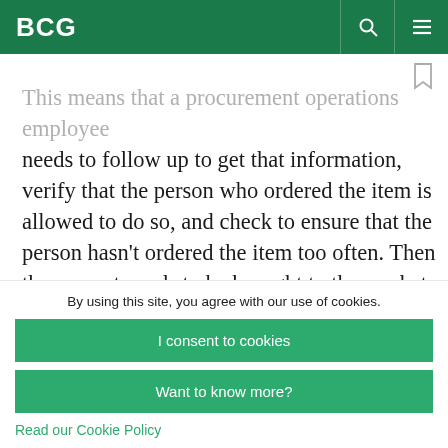BCG
This means that a procurement operations employee needs to follow up to get that information, verify that the person who ordered the item is allowed to do so, and check to ensure that the person hasn't ordered the item too often. Then the request needs to be brought to the market: inexpensive items can be acquired directly from
By using this site, you agree with our use of cookies.
I consent to cookies
Want to know more?
Read our Cookie Policy